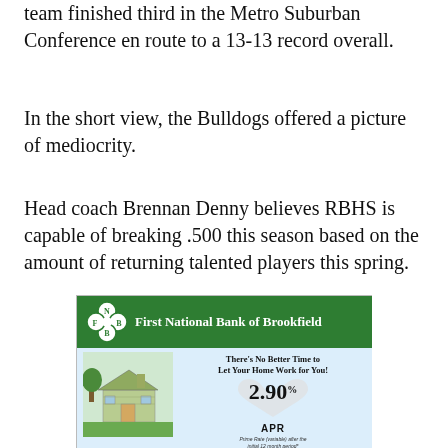team finished third in the Metro Suburban Conference en route to a 13-13 record overall.
In the short view, the Bulldogs offered a picture of mediocrity.
Head coach Brennan Denny believes RBHS is capable of breaking .500 this season based on the amount of returning talented players this spring.
[Figure (illustration): Advertisement for First National Bank of Brookfield featuring a home equity loan promotion with 2.90% APR introductory rate, showing a logo with F, N, B letters in a clover design, and an illustration of a house made of money.]